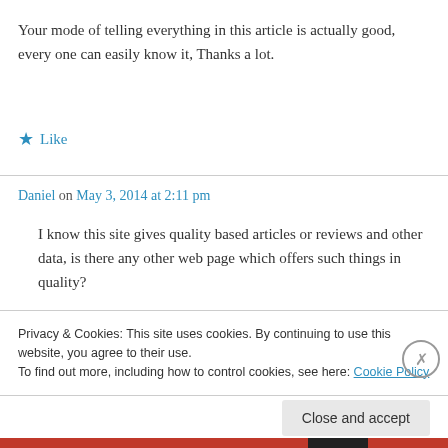Your mode of telling everything in this article is actually good, every one can easily know it, Thanks a lot.
★ Like
Daniel on May 3, 2014 at 2:11 pm
I know this site gives quality based articles or reviews and other data, is there any other web page which offers such things in quality?
Privacy & Cookies: This site uses cookies. By continuing to use this website, you agree to their use. To find out more, including how to control cookies, see here: Cookie Policy
Close and accept